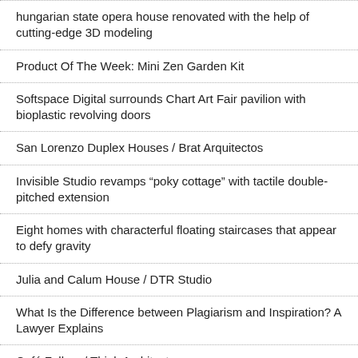hungarian state opera house renovated with the help of cutting-edge 3D modeling
Product Of The Week: Mini Zen Garden Kit
Softspace Digital surrounds Chart Art Fair pavilion with bioplastic revolving doors
San Lorenzo Duplex Houses / Brat Arquitectos
Invisible Studio revamps “poky cottage” with tactile double-pitched extension
Eight homes with characterful floating staircases that appear to defy gravity
Julia and Calum House / DTR Studio
What Is the Difference between Plagiarism and Inspiration? A Lawyer Explains
Café Falken / Think Architecture
Note Design Studio creates “unexpected” restaurant in historic